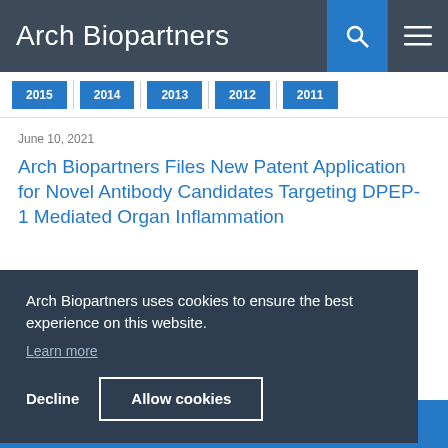Arch Biopartners
[Figure (screenshot): Year navigation tabs showing 2015, 2014, 2013, 2012, 2011]
June 10, 2021
Arch Biopartners Files New Patent Application for Novel Antibody Candidates Targeting DPEP-1 Mediated Organ Inflammation
Arch Biopartners uses cookies to ensure the best experience on this website.
Learn more
Decline   Allow cookies
Arch Biopartners Enters into Worldwide License Agreement with Tolan Pharma...